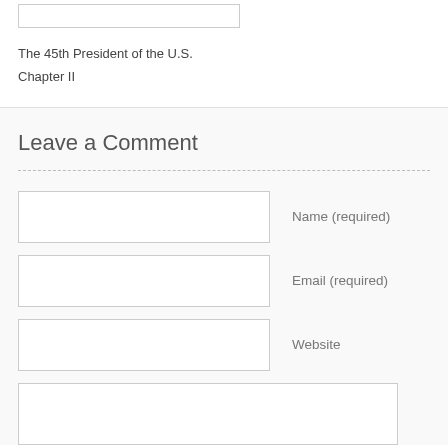The 45th President of the U.S.
Chapter II
Leave a Comment
Name (required)
Email (required)
Website